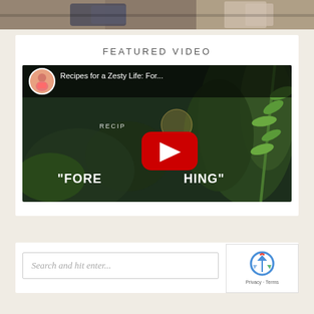[Figure (photo): Top portion of a photo showing feet/shoes on ground with dirt/leaves]
FEATURED VIDEO
[Figure (screenshot): YouTube video thumbnail for 'Recipes for a Zesty Life: For...' showing forest/plant background with red play button and text '"FOREST THING"']
[Figure (screenshot): Search box with placeholder text 'Search and hit enter...' and reCAPTCHA badge in bottom right corner]